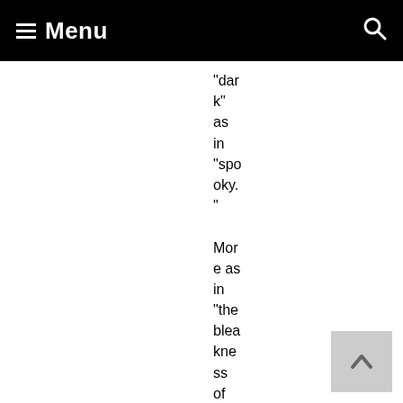Menu
"dark" as in "spooky."

More as in "the bleakness of just trying to figure out how